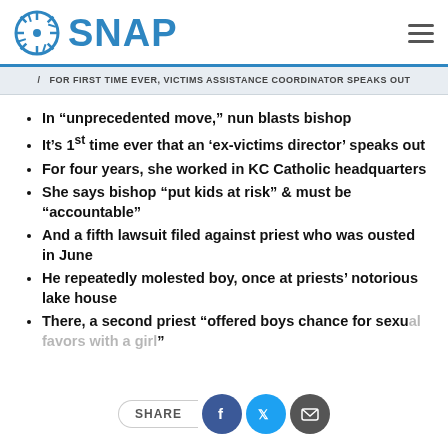SNAP
FOR FIRST TIME EVER, VICTIMS ASSISTANCE COORDINATOR SPEAKS OUT
In “unprecedented move,” nun blasts bishop
It’s 1st time ever that an ‘ex-victims director’ speaks out
For four years, she worked in KC Catholic headquarters
She says bishop “put kids at risk” & must be “accountable”
And a fifth lawsuit filed against priest who was ousted in June
He repeatedly molested boy, once at priests’ notorious lake house
There, a second priest “offered boys chance for sexual favors with a girl”